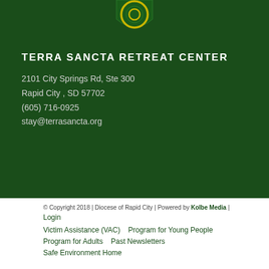[Figure (logo): Terra Sancta Retreat Center logo — green shield with gold ring/circle emblem on dark green background]
TERRA SANCTA RETREAT CENTER
2101 City Springs Rd, Ste 300
Rapid City , SD 57702
(605) 716-0925
stay@terrasancta.org
© Copyright 2018 | Diocese of Rapid City | Powered by Kolbe Media | Login
Victim Assistance (VAC)    Program for Young People
Program for Adults    Past Newsletters
Safe Environment Home